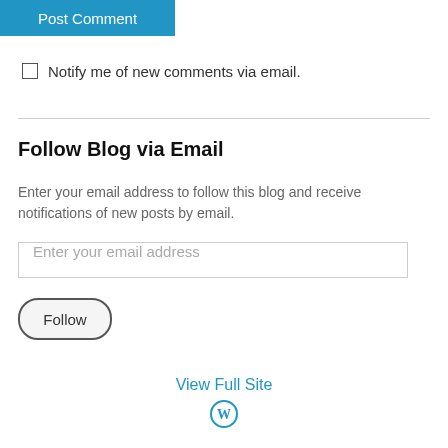Post Comment
Notify me of new comments via email.
Follow Blog via Email
Enter your email address to follow this blog and receive notifications of new posts by email.
Enter your email address
Follow
View Full Site
[Figure (logo): WordPress logo circle icon]